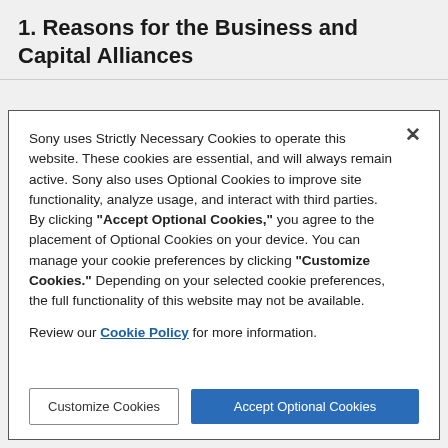1. Reasons for the Business and Capital Alliances
Sony uses Strictly Necessary Cookies to operate this website. These cookies are essential, and will always remain active. Sony also uses Optional Cookies to improve site functionality, analyze usage, and interact with third parties. By clicking "Accept Optional Cookies," you agree to the placement of Optional Cookies on your device. You can manage your cookie preferences by clicking "Customize Cookies." Depending on your selected cookie preferences, the full functionality of this website may not be available.

Review our Cookie Policy for more information.
Customize Cookies
Accept Optional Cookies